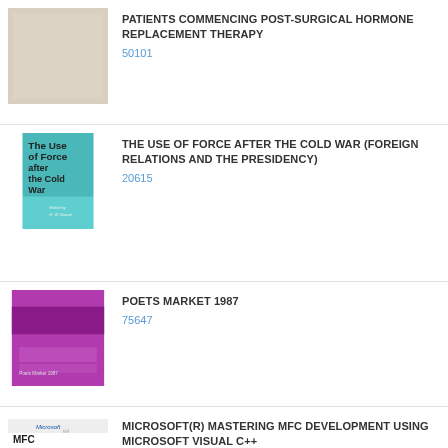[Figure (illustration): Book cover - plain light beige/cream colored cover, partially visible]
PATIENTS COMMENCING POST-SURGICAL HORMONE REPLACEMENT THERAPY
50101
[Figure (illustration): Book cover - The Use of Force after the Cold War, teal and white design with bold text, Edited by H. W. Brands]
THE USE OF FORCE AFTER THE COLD WAR (FOREIGN RELATIONS AND THE PRESIDENCY)
20615
[Figure (illustration): Book cover - Poets Market 1987, purple/magenta cover]
POETS MARKET 1987
75647
[Figure (illustration): Book cover - Microsoft MFC Development using Microsoft Visual C++ 6.0, with teal/green disc imagery and red Mastering text at bottom]
MICROSOFT(R) MASTERING MFC DEVELOPMENT USING MICROSOFT VISUAL C++
8191